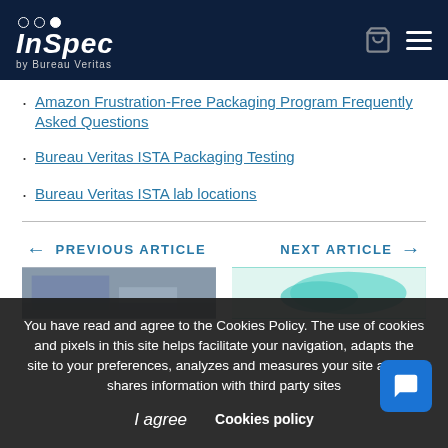InSpec by Bureau Veritas
Amazon Frustration-Free Packaging Program Frequently Asked Questions
Bureau Veritas ISTA Packaging Testing
Bureau Veritas ISTA lab locations
PREVIOUS ARTICLE
NEXT ARTICLE
[Figure (photo): Thumbnail image for previous article showing an interior room]
[Figure (photo): Thumbnail image for next article showing a teal colored object]
You have read and agree to the Cookies Policy. The use of cookies and pixels in this site helps facilitate your navigation, adapts the site to your preferences, analyzes and measures your site activity, shares information with third party sites
I agree   Cookies policy